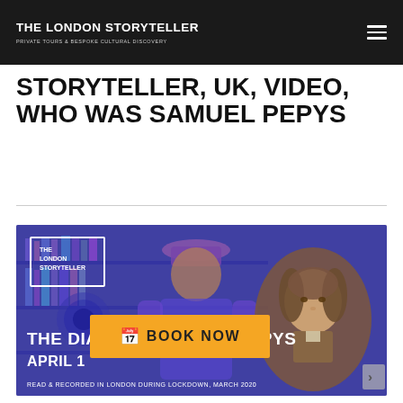THE LONDON STORYTELLER — PRIVATE TOURS & BESPOKE CULTURAL DISCOVERY
STORYTELLER, UK, VIDEO, WHO WAS SAMUEL PEPYS
[Figure (screenshot): Video thumbnail with blue-tinted background showing a man in a hat in front of bookshelves and a historical portrait of Samuel Pepys overlaid on the right. Text reads: THE LONDON STORYTELLER logo, THE DIARY OF SAMUEL PEPYS, APRIL 1[...], READ & RECORDED IN LONDON DURING LOCKDOWN, MARCH 2020. A golden BOOK NOW button with calendar icon is overlaid in the center.]